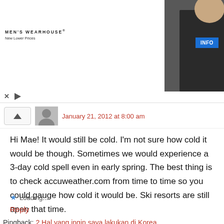[Figure (other): Men's Wearhouse advertisement banner showing a couple in formalwear, a man in a tuxedo, and an INFO button]
January 21, 2012 at 8:00 am
Hi Mae! It would still be cold. I'm not sure how cold it would be though. Sometimes we would experience a 3-day cold spell even in early spring. The best thing is to check accuweather.com from time to time so you could gauge how cold it would be. Ski resorts are still open that time.
Loading...
Reply
Pingback: 2 Hal yang ingin saya lakukan di Korea